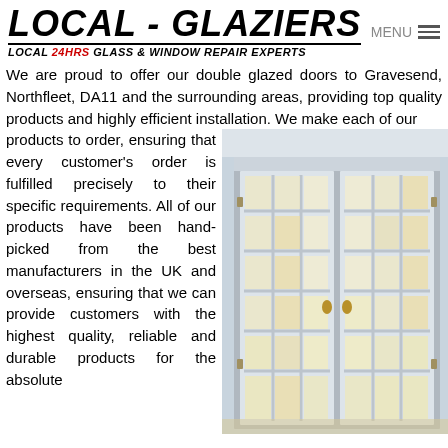LOCAL - GLAZIERS LOCAL 24HRS GLASS & WINDOW REPAIR EXPERTS
We are proud to offer our double glazed doors to Gravesend, Northfleet, DA11 and the surrounding areas, providing top quality products and highly efficient installation. We make each of our products to order, ensuring that every customer's order is fulfilled precisely to their specific requirements. All of our products have been hand-picked from the best manufacturers in the UK and overseas, ensuring that we can provide customers with the highest quality, reliable and durable products for the absolute
[Figure (photo): White double French doors with grid glass panels and brass handles, photographed from inside a room with warm lighting]